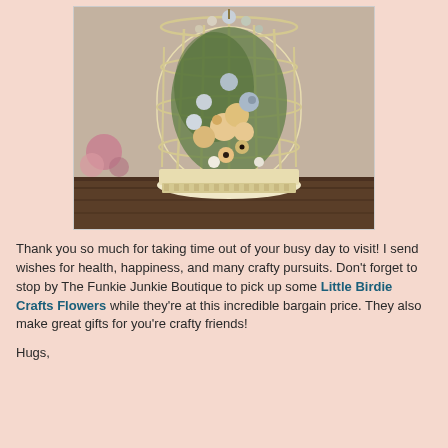[Figure (photo): A vintage white distressed birdcage filled with decorative flowers in shades of peach, blue, and white, displayed on a wooden surface with a textured background. Pink flowers visible in the lower left corner.]
Thank you so much for taking time out of your busy day to visit! I send wishes for health, happiness, and many crafty pursuits. Don't forget to stop by The Funkie Junkie Boutique to pick up some Little Birdie Crafts Flowers while they're at this incredible bargain price. They also make great gifts for you're crafty friends!
Hugs,